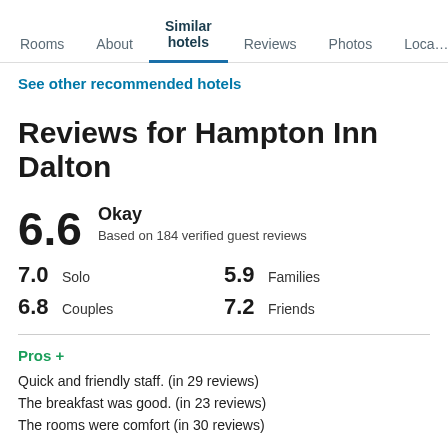Rooms  About  Similar hotels  Reviews  Photos  Loca…
See other recommended hotels
Reviews for Hampton Inn Dalton
6.6  Okay
Based on 184 verified guest reviews
7.0  Solo     5.9  Families
6.8  Couples  7.2  Friends
Pros +
Quick and friendly staff. (in 29 reviews)
The breakfast was good. (in 23 reviews)
The rooms were comfort (in 30 reviews)